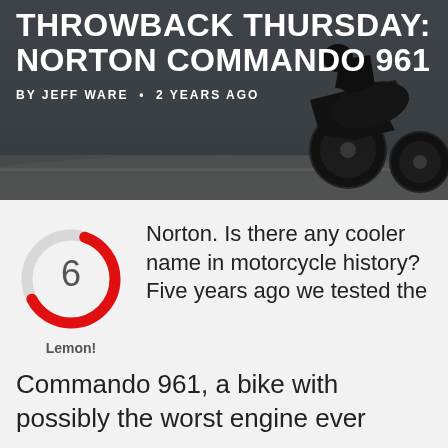[Figure (photo): Motorcycle racer leaning into a corner on a track, shot from a low angle. Dark moody background.]
THROWBACK THURSDAY: NORTON COMMANDO 961
BY JEFF WARE • 2 YEARS AGO
[Figure (donut-chart): Circular gauge/donut chart showing a score of 6 out of 10. The filled arc is red covering roughly 60% of the circle, the rest is light grey. The number 6 is displayed in the center.]
Lemon!
Norton. Is there any cooler name in motorcycle history? Five years ago we tested the Commando 961, a bike with possibly the worst engine ever